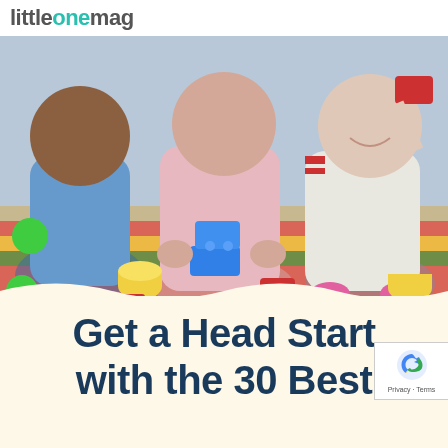littleonemag
[Figure (photo): Three toddlers sitting on a colorful play mat playing with large building blocks of various colors including blue, yellow, red, and green. The center child wears a pink sweater and is stacking blue blocks. The left child in a blue shirt holds a green toy. The right child in a white sweater smiles with arm raised holding a red block.]
Get a Head Start with the 30 Best